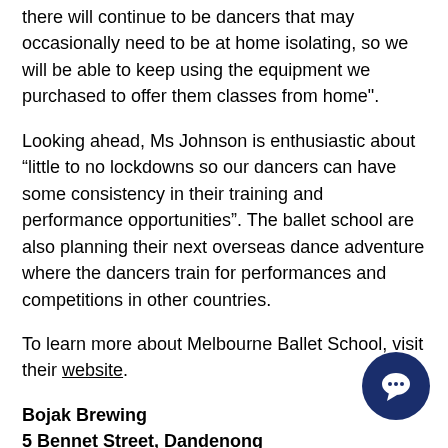there will continue to be dancers that may occasionally need to be at home isolating, so we will be able to keep using the equipment we purchased to offer them classes from home".
Looking ahead, Ms Johnson is enthusiastic about “little to no lockdowns so our dancers can have some consistency in their training and performance opportunities". The ballet school are also planning their next overseas dance adventure where the dancers train for performances and competitions in other countries.
To learn more about Melbourne Ballet School, visit their website.
Bojak Brewing
5 Bennet Street, Dandenong
After officially opening their doors in late 2018 owners of Bojak Brewing, Dale and Sue Messina could be seen throughout the world…